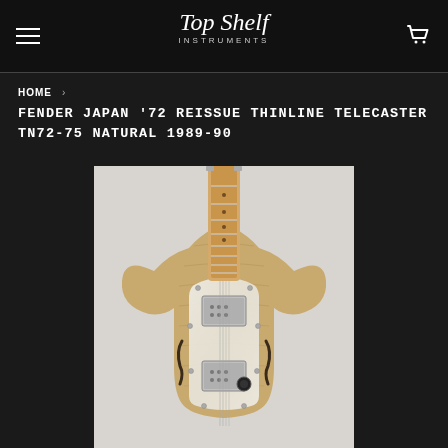Top Shelf Instruments
HOME >
FENDER JAPAN '72 REISSUE THINLINE TELECASTER TN72-75 NATURAL 1989-90
[Figure (photo): Photo of a Fender Japan '72 Reissue Thinline Telecaster guitar in natural finish with maple neck, pearloid pickguard, and two humbucking pickups]